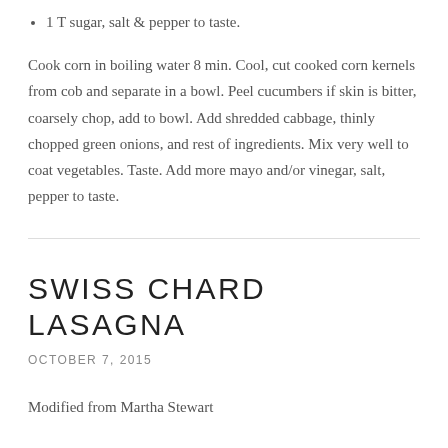1 T sugar, salt & pepper to taste.
Cook corn in boiling water 8 min. Cool, cut cooked corn kernels from cob and separate in a bowl. Peel cucumbers if skin is bitter, coarsely chop, add to bowl. Add shredded cabbage, thinly chopped green onions, and rest of ingredients. Mix very well to coat vegetables. Taste. Add more mayo and/or vinegar, salt, pepper to taste.
SWISS CHARD LASAGNA
OCTOBER 7, 2015
Modified from Martha Stewart